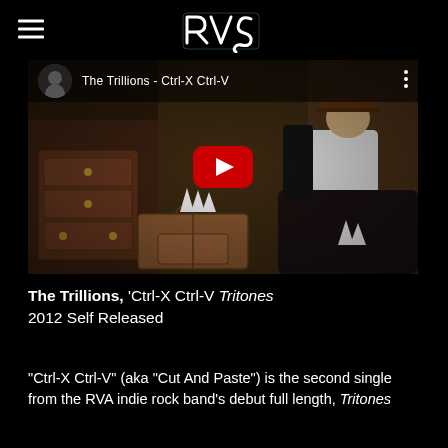RVA (logo)
[Figure (screenshot): YouTube video thumbnail for 'The Trillions - Ctrl-X Ctrl-V'. Shows a man in a white shirt and hat sitting in a cluttered room with vintage furniture, suitcases. Red YouTube play button in center. Channel avatar and video title in top-left overlay bar.]
The Trillions, 'Ctrl-X Ctrl-V Tritones
2012 Self Released
"Ctrl-X Ctrl-V" (aka "Cut And Paste") is the second single from the RVA indie rock band's debut full length, Tritones